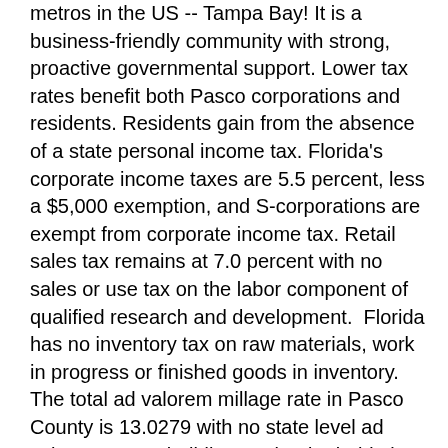metros in the US -- Tampa Bay! It is a business-friendly community with strong, proactive governmental support. Lower tax rates benefit both Pasco corporations and residents. Residents gain from the absence of a state personal income tax. Florida's corporate income taxes are 5.5 percent, less a $5,000 exemption, and S-corporations are exempt from corporate income tax. Retail sales tax remains at 7.0 percent with no sales or use tax on the labor component of qualified research and development. Florida has no inventory tax on raw materials, work in progress or finished goods in inventory. The total ad valorem millage rate in Pasco County is 13.0279 with no state level ad valorem tax on buildings or land. Florida is consistently ranked as one of the top pro-business states, for a number of good reasons. Florida offers a competitive cost-of-doing-business, especially when compared to other high-tech states, and is one of only a few right-to-work states in the U.S. Workers' compensation insurance will go down 6.8 percent in Florida in 2010, making Florida one of